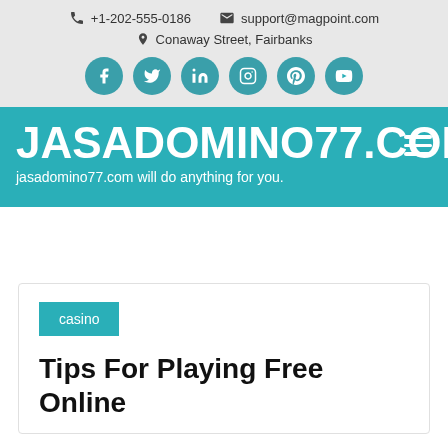+1-202-555-0186  support@magpoint.com  Conaway Street, Fairbanks
JASADOMINO77.COM
jasadomino77.com will do anything for you.
casino
Tips For Playing Free Online